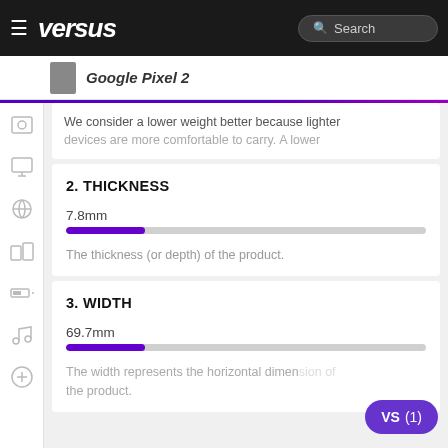versus | Search | Google Pixel 2
We consider a lower weight better because lighter devices are more comfortable to carry. A lower
2. THICKNESS
7.8mm
The thickness (or depth) of the product.
3. WIDTH
69.7mm
The width represents the horizontal dimension of the product.